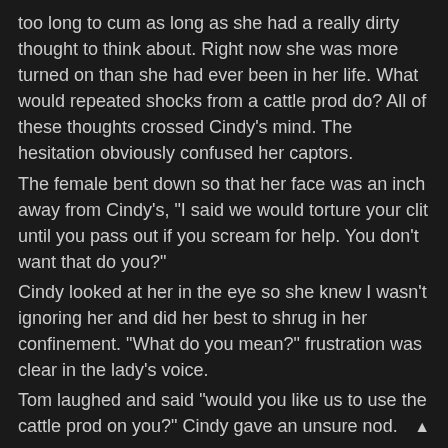too long to cum as long as she had a really dirty thought to think about. Right now she was more turned on than she had ever been in her life. What would repeated shocks from a cattle prod do? All of these thoughts crossed Cindy's mind. The hesitation obviously confused her captors.
The female bent down so that her face was an inch away from Cindy's, “I said we would torture your clit until you pass out if you scream for help. You don’t want that do you?"
Cindy looked at her in the eye so she knew I wasn’t ignoring her and did her best to shrug in her confinement. “What do you mean?” frustration was clear in the lady’s voice.
Tom laughed and said “would you like us to use the cattle prod on you?” Cindy gave an unsure nod.
But if we don’t want you to, will you scream for help?” At